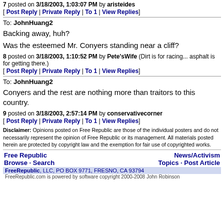7 posted on 3/18/2003, 1:03:07 PM by aristeides
[ Post Reply | Private Reply | To 1 | View Replies]
To: JohnHuang2
Backing away, huh?
Was the esteemed Mr. Conyers standing near a cliff?
8 posted on 3/18/2003, 1:10:52 PM by Pete'sWife (Dirt is for racing... asphalt is for getting there.)
[ Post Reply | Private Reply | To 1 | View Replies]
To: JohnHuang2
Conyers and the rest are nothing more than traitors to this country.
9 posted on 3/18/2003, 2:57:14 PM by conservativecorner
[ Post Reply | Private Reply | To 1 | View Replies]
Disclaimer: Opinions posted on Free Republic are those of the individual posters and do not necessarily represent the opinion of Free Republic or its management. All materials posted herein are protected by copyright law and the exemption for fair use of copyrighted works.
Free Republic   Browse · Search   News/Activism   Topics · Post Article   FreeRepublic, LLC, PO BOX 9771, FRESNO, CA 93794   FreeRepublic.com is powered by software copyright 2000-2008 John Robinson